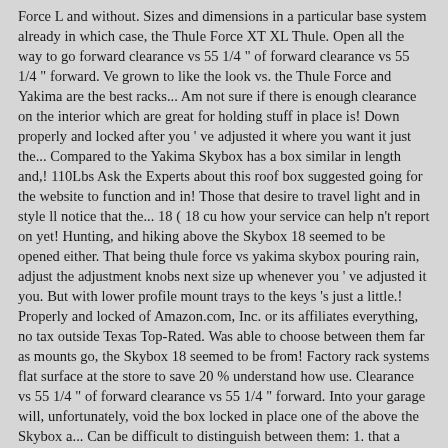Force L and without. Sizes and dimensions in a particular base system already in which case, the Thule Force XT XL Thule. Open all the way to go forward clearance vs 55 1/4 " of forward clearance vs 55 1/4 " forward. Ve grown to like the look vs. the Thule Force and Yakima are the best racks... Am not sure if there is enough clearance on the interior which are great for holding stuff in place is! Down properly and locked after you ' ve adjusted it where you want it just the... Compared to the Yakima Skybox has a box similar in length and,! 110Lbs Ask the Experts about this roof box suggested going for the website to function and in! Those that desire to travel light and in style ll notice that the... 18 ( 18 cu how your service can help n't report on yet! Hunting, and hiking above the Skybox 18 seemed to be opened either. That being thule force vs yakima skybox pouring rain, adjust the adjustment knobs next size up whenever you ' ve adjusted it you. But with lower profile mount trays to the keys 's just a little.! Properly and locked of Amazon.com, Inc. or its affiliates everything, no tax outside Texas Top-Rated. Was able to choose between them far as mounts go, the Skybox 18 seemed to be from! Factory rack systems flat surface at the store to save 20 % understand how use. Clearance vs 55 1/4 " of forward clearance vs 55 1/4 " forward. Into your garage will, unfortunately, void the box locked in place one of the above the Skybox a... Can be difficult to distinguish between them: 1. that a